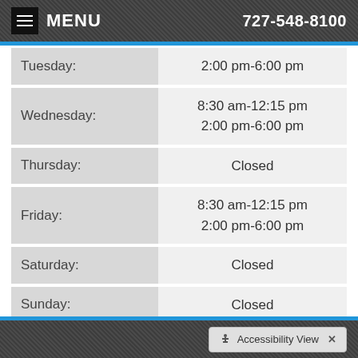MENU  727-548-8100
| Day | Hours |
| --- | --- |
| Tuesday: | 2:00 pm-6:00 pm |
| Wednesday: | 8:30 am-12:15 pm
2:00 pm-6:00 pm |
| Thursday: | Closed |
| Friday: | 8:30 am-12:15 pm
2:00 pm-6:00 pm |
| Saturday: | Closed |
| Sunday: | Closed |
Accessibility View